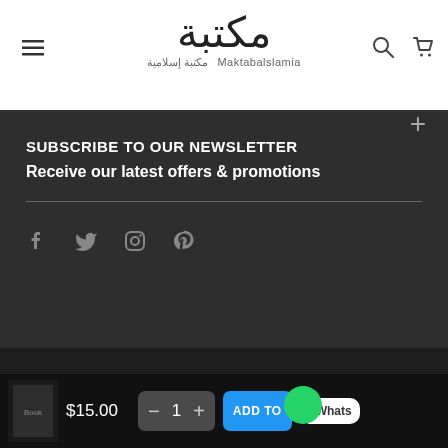MaktabaIslamia — Hamburger menu, search icon, cart icon
SUBSCRIBE TO OUR NEWSLETTER
Receive our latest offers & promotions
[Figure (infographic): Social media icons: Facebook, Twitter, Instagram, Pinterest]
© MaktabaIslamia 2021. All Rights Reserved
$15.00
— 1 +
ADD TO
Whats